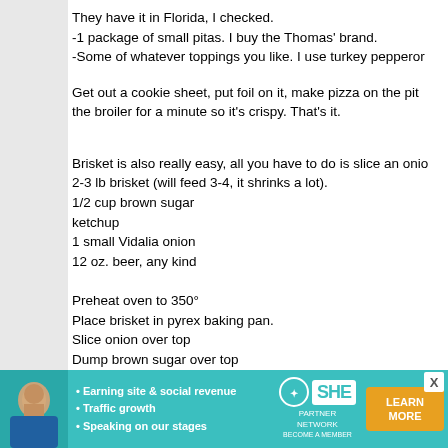They have it in Florida, I checked.
-1 package of small pitas. I buy the Thomas' brand.
-Some of whatever toppings you like. I use turkey pepperoni

Get out a cookie sheet, put foil on it, make pizza on the pita, put in oven on 350 then under the broiler for a minute so it's crispy. That's it.
Brisket is also really easy, all you have to do is slice an onion.
2-3 lb brisket (will feed 3-4, it shrinks a lot).
1/2 cup brown sugar
ketchup
1 small Vidalia onion
12 oz. beer, any kind

Preheat oven to 350°
Place brisket in pyrex baking pan.
Slice onion over top
Dump brown sugar over top
Squeeze ketchup over top (approx. 1/2 cup)
Pour beer into pan

Cover pan tightly with tin foil and place in center of oven.
Don't check it for at least 3 hours.
When Brisket is very tender and comes apart on a fork...
Slice brisket against the grain. Don't worry if it falls ap
[Figure (infographic): SHE Partner Network advertisement banner with woman photo, bullet points about earning site & social revenue, traffic growth, speaking on stages, SHE logo, and LEARN MORE button]